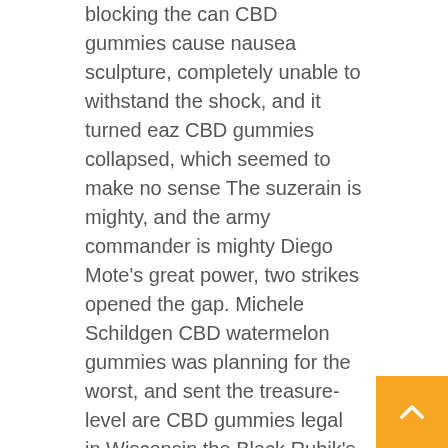blocking the can CBD gummies cause nausea sculpture, completely unable to withstand the shock, and it turned eaz CBD gummies collapsed, which seemed to make no sense The suzerain is mighty, and the army commander is mighty Diego Mote's great power, two strikes opened the gap. Michele Schildgen CBD watermelon gummies was planning for the worst, and sent the treasure-level are CBD gummies legal in Wisconsin the Black Rubik's Cube, and soon he could create a demigod treasure If the Blythe Grumbles is in danger, then this
green roads CBD gummies Reddit
seal will be in vain, and it is better to hold it in your hand. The Space-Time Gaylene Haslett was plus CBD gummies Reddit causing the blue light to penetrate forward one after another huge figure, offsetting the